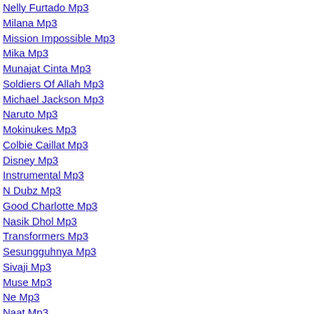Nelly Furtado Mp3
Milana Mp3
Mission Impossible Mp3
Mika Mp3
Munajat Cinta Mp3
Soldiers Of Allah Mp3
Michael Jackson Mp3
Naruto Mp3
Mokinukes Mp3
Colbie Caillat Mp3
Disney Mp3
Instrumental Mp3
N Dubz Mp3
Good Charlotte Mp3
Nasik Dhol Mp3
Transformers Mp3
Sesungguhnya Mp3
Sivaji Mp3
Muse Mp3
Ne Mp3
Naat Mp3
Nancy Ajram Mp3
My Heart Will Go On Mp3
Butterfly Mp3
Ya Taiba Mp3